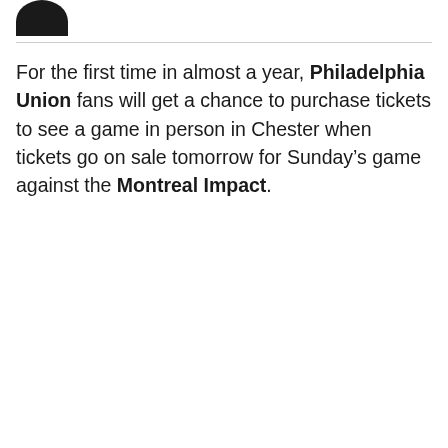[Figure (logo): Partial dark circular/rounded logo shape at top left]
For the first time in almost a year, Philadelphia Union fans will get a chance to purchase tickets to see a game in person in Chester when tickets go on sale tomorrow for Sunday’s game against the Montreal Impact.